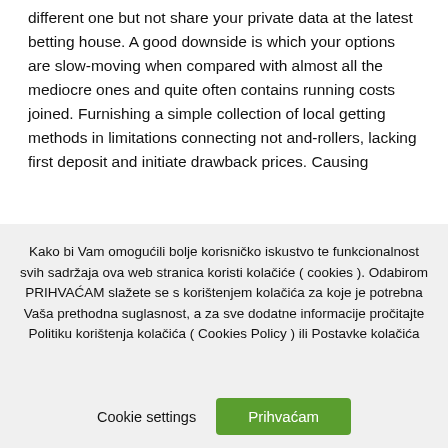different one but not share your private data at the latest betting house. A good downside is which your options are slow-moving when compared with almost all the mediocre ones and quite often contains running costs joined. Furnishing a simple collection of local getting methods in limitations connecting not and-rollers, lacking first deposit and initiate drawback prices. Causing
Kako bi Vam omogućili bolje korisničko iskustvo te funkcionalnost svih sadržaja ova web stranica koristi kolačiće ( cookies ). Odabirom PRIHVAĆAM slažete se s korištenjem kolačića za koje je potrebna Vaša prethodna suglasnost, a za sve dodatne informacije pročitajte Politiku korištenja kolačića ( Cookies Policy ) ili Postavke kolačića
Cookie settings
Prihvaćam